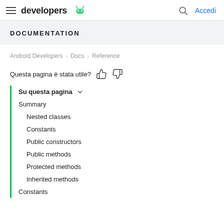developers | Accedi
DOCUMENTATION
Android Developers > Docs > Reference
Questa pagina è stata utile?
Su questa pagina
Summary
Nested classes
Constants
Public constructors
Public methods
Protected methods
Inherited methods
Constants